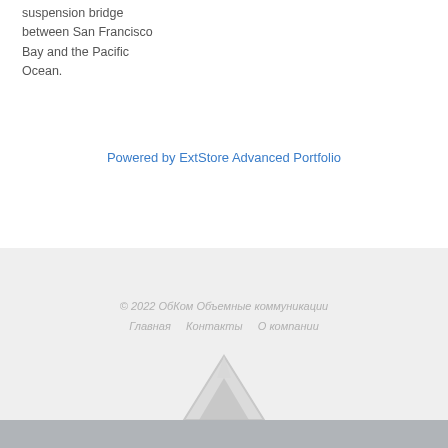suspension bridge between San Francisco Bay and the Pacific Ocean.
Powered by ExtStore Advanced Portfolio
© 2022 ОбКом Объемные коммуникации
Главная   Контакты   О компании